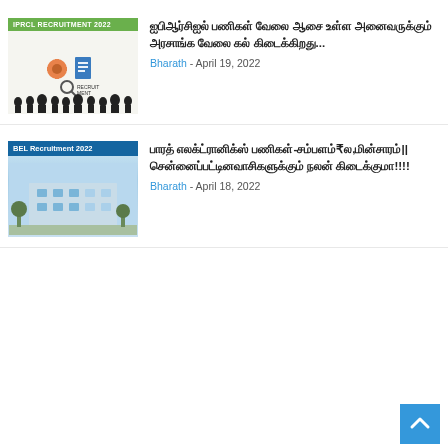[Figure (photo): IPRCL Recruitment 2022 thumbnail with green header bar, orange gear icon, recruitment-themed graphics, and silhouettes of people]
ஐபிஆர்சிஐல் பணிகள் வேலை ஆசை உள்ள அனைவருக்கும் அரசாங்க வேலை கல் கிடைக்கிறது...
Bharath - April 19, 2022
[Figure (photo): BEL Recruitment 2022 thumbnail with dark blue header bar and blue-tinted building photograph]
பாரத் எலக்ட்ரானிக்ஸ் பணிகள்-சம்பளம்₹ல,மின்சாரம்|| சென்னைப்பட்டினவாசிகளுக்கும் நலன் கிடைக்குமா!!!!
Bharath - April 18, 2022